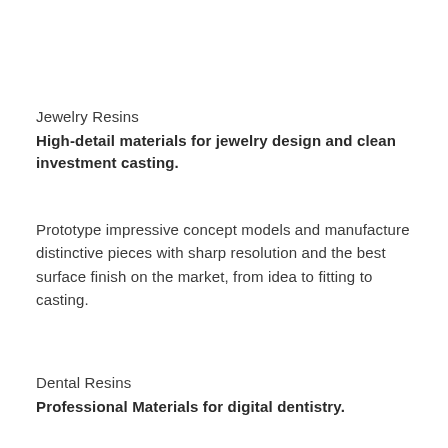Jewelry Resins
High-detail materials for jewelry design and clean investment casting.
Prototype impressive concept models and manufacture distinctive pieces with sharp resolution and the best surface finish on the market, from idea to fitting to casting.
Dental Resins
Professional Materials for digital dentistry.